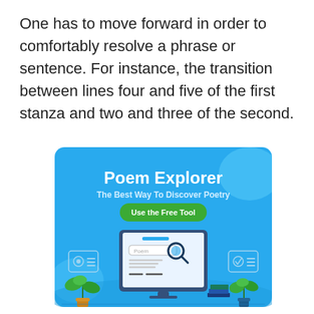One has to move forward in order to comfortably resolve a phrase or sentence. For instance, the transition between lines four and five of the first stanza and two and three of the second.
[Figure (infographic): Poem Explorer advertisement banner with blue background, bold white title 'Poem Explorer', subtitle 'The Best Way To Discover Poetry', green button 'Use the Free Tool', and an illustration of a computer monitor with a poem search interface, plants, and books.]